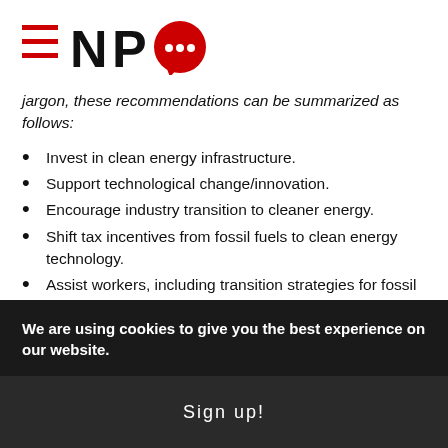[Figure (logo): NPQ (Nonprofit Quarterly) logo with three red horizontal lines and red speech bubble with dots]
jargon, these recommendations can be summarized as follows:
Invest in clean energy infrastructure.
Support technological change/innovation.
Encourage industry transition to cleaner energy.
Shift tax incentives from fossil fuels to clean energy technology.
Assist workers, including transition strategies for fossil fuel workers.
Cut pollution in communities of color and
We are using cookies to give you the best experience on our website.
Sign up!